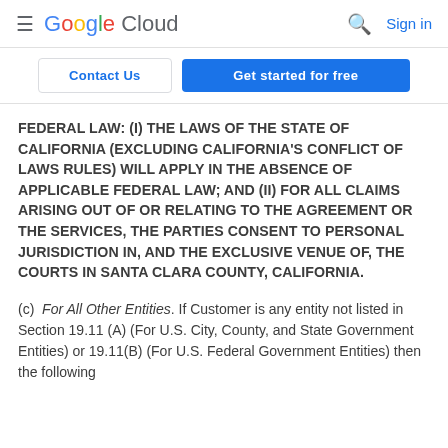≡  Google Cloud   🔍  Sign in
[Figure (screenshot): Google Cloud navigation bar with hamburger menu, Google Cloud logo, search icon, and Sign in link]
Contact Us   Get started for free
FEDERAL LAW: (I) THE LAWS OF THE STATE OF CALIFORNIA (EXCLUDING CALIFORNIA'S CONFLICT OF LAWS RULES) WILL APPLY IN THE ABSENCE OF APPLICABLE FEDERAL LAW; AND (II) FOR ALL CLAIMS ARISING OUT OF OR RELATING TO THE AGREEMENT OR THE SERVICES, THE PARTIES CONSENT TO PERSONAL JURISDICTION IN, AND THE EXCLUSIVE VENUE OF, THE COURTS IN SANTA CLARA COUNTY, CALIFORNIA.
(c) For All Other Entities. If Customer is any entity not listed in Section 19.11 (A) (For U.S. City, County, and State Government Entities) or 19.11(B) (For U.S. Federal Government Entities) then the following